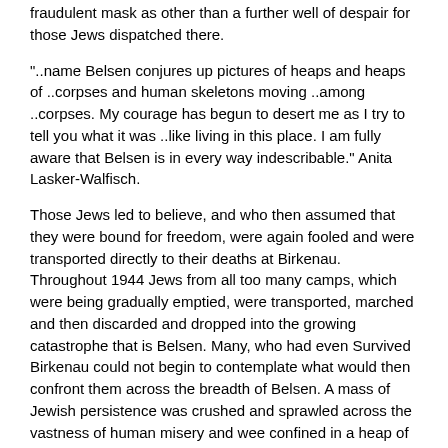fraudulent mask as other than a further well of despair for those Jews dispatched there.
"..name Belsen conjures up pictures of heaps and heaps of ..corpses and human skeletons moving ..among ..corpses. My courage has begun to desert me as I try to tell you what it was ..like living in this place. I am fully aware that Belsen is in every way indescribable." Anita Lasker-Walfisch.
Those Jews led to believe, and who then assumed that they were bound for freedom, were again fooled and were transported directly to their deaths at Birkenau. Throughout 1944 Jews from all too many camps, which were being gradually emptied, were transported, marched and then discarded and dropped into the growing catastrophe that is Belsen. Many, who had even Survived Birkenau could not begin to contemplate what would then confront them across the breadth of Belsen. A mass of Jewish persistence was crushed and sprawled across the vastness of human misery and wee confined in a heap of human destitution.
"..life in Belsen ..during 1944 ..pretty dull ..tedious ..monotonous." Paul Oppenheimer.
On February 4th. 1944, the 367 Jews who had been transported to Belsen from Birkenau, back in July 1943, were finally returned to Spain after their near seven month stay in Belsen. During March 1944, some 400 Albanian Jews arrive in Belsen of which barely 100 of these will Survive. It is ominously to those who are looking in, that it is perfectly clear that Survival and those aspirations for a future life go hand in hand. With most Jews